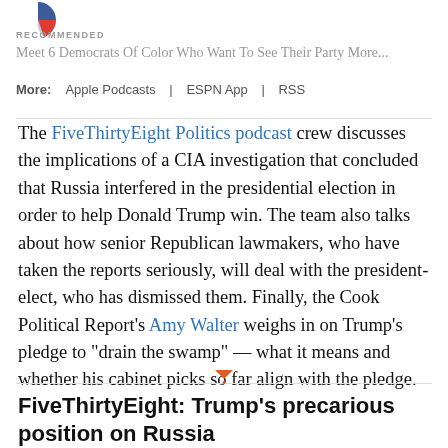[Figure (logo): Partial pie/donut chart logo in blue and red at top left]
RECOMMENDED
Meet 6 Democrats Of Color Who Want To See Their Party More...
More:  Apple Podcasts  |  ESPN App  |  RSS
The FiveThirtyEight Politics podcast crew discusses the implications of a CIA investigation that concluded that Russia interfered in the presidential election in order to help Donald Trump win. The team also talks about how senior Republican lawmakers, who have taken the reports seriously, will deal with the president-elect, who has dismissed them. Finally, the Cook Political Report’s Amy Walter weighs in on Trump’s pledge to “drain the swamp” — what it means and whether his cabinet picks so far align with the pledge.
FiveThirtyEight: Trump’s precarious position on Russia